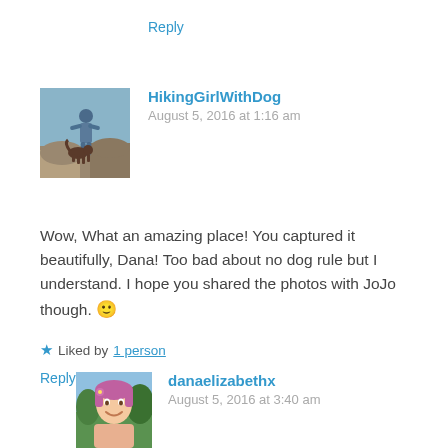Reply
[Figure (photo): Avatar photo of HikingGirlWithDog — a person and a dog on a rocky trail]
HikingGirlWithDog
August 5, 2016 at 1:16 am
Wow, What an amazing place! You captured it beautifully, Dana! Too bad about no dog rule but I understand. I hope you shared the photos with JoJo though. 🙂
★ Liked by 1 person
Reply
[Figure (photo): Avatar photo of danaelizabethx — a young woman smiling outdoors]
danaelizabethx
August 5, 2016 at 3:40 am